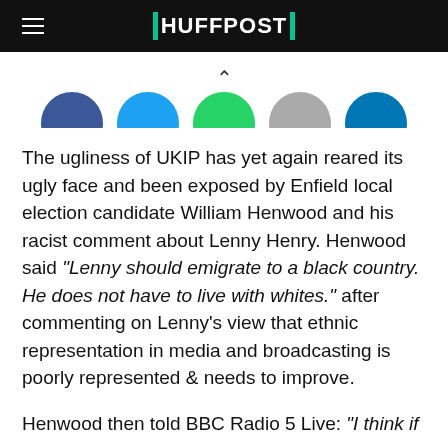HUFFPOST
[Figure (other): Social sharing icons: Facebook (blue), Twitter (light blue), WhatsApp (green), share/email (grey), LinkedIn (dark blue) — shown as half-circles from below]
The ugliness of UKIP has yet again reared its ugly face and been exposed by Enfield local election candidate William Henwood and his racist comment about Lenny Henry. Henwood said "Lenny should emigrate to a black country. He does not have to live with whites." after commenting on Lenny's view that ethnic representation in media and broadcasting is poorly represented & needs to improve.
Henwood then told BBC Radio 5 Live: "I think if